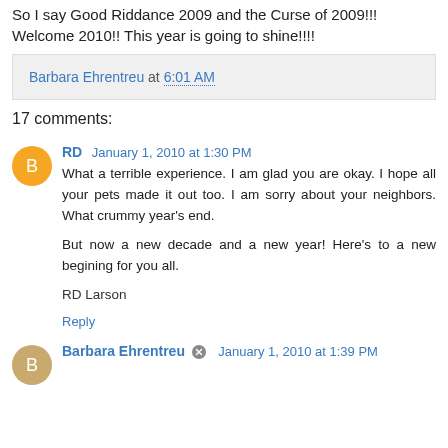So I say Good Riddance 2009 and the Curse of 2009!!! Welcome 2010!! This year is going to shine!!!!
Barbara Ehrentreu at 6:01 AM
17 comments:
RD  January 1, 2010 at 1:30 PM
What a terrible experience. I am glad you are okay. I hope all your pets made it out too. I am sorry about your neighbors. What crummy year's end.

But now a new decade and a new year! Here's to a new begining for you all.

RD Larson
Reply
Barbara Ehrentreu  January 1, 2010 at 1:39 PM